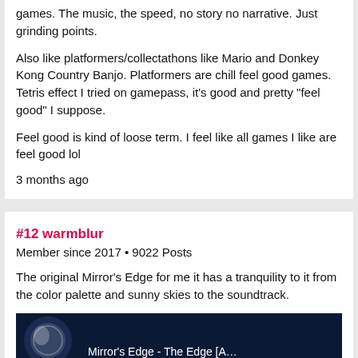games. The music, the speed, no story no narrative. Just grinding points.
Also like platformers/collectathons like Mario and Donkey Kong Country Banjo. Platformers are chill feel good games. Tetris effect I tried on gamepass, it's good and pretty "feel good" I suppose.
Feel good is kind of loose term. I feel like all games I like are feel good lol
3 months ago
#12 warmblur
Member since 2017 • 9022 Posts
The original Mirror's Edge for me it has a tranquility to it from the color palette and sunny skies to the soundtrack.
[Figure (screenshot): Dark blue banner image showing Mirror's Edge game with text 'Mirror's Edge - The Edge [A...']